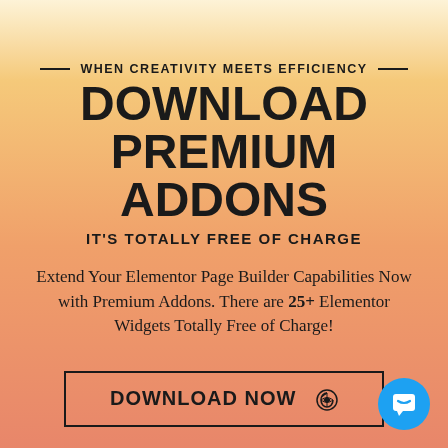WHEN CREATIVITY MEETS EFFICIENCY
DOWNLOAD PREMIUM ADDONS
IT'S TOTALLY FREE OF CHARGE
Extend Your Elementor Page Builder Capabilities Now with Premium Addons. There are 25+ Elementor Widgets Totally Free of Charge!
DOWNLOAD NOW
[Figure (illustration): Blue circular chat bubble icon in bottom right corner]